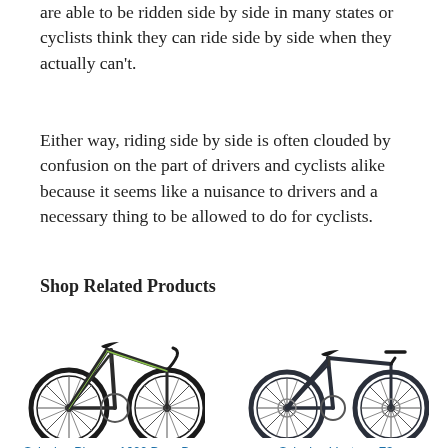are able to be ridden side by side in many states or cyclists think they can ride side by side when they actually can't.
Either way, riding side by side is often clouded by confusion on the part of drivers and cyclists alike because it seems like a nuisance to drivers and a necessary thing to be allowed to do for cyclists.
Shop Related Products
[Figure (photo): Schwinn Phocus 1600 Drop Bar Adult Road Bicycle road bike photo]
Schwinn Phocus 1600 Drop Bar Adult Road Bicycle, 50cm/Large
[Figure (photo): Schwinn Vantage F3 Mens/Womens Sport Hybrid Bike photo]
Schwinn Vantage F3 Mens/Womens Sport Hybrid B...